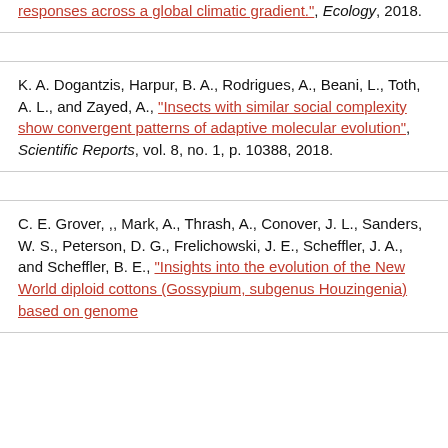responses across a global climatic gradient.", Ecology, 2018.
K. A. Dogantzis, Harpur, B. A., Rodrigues, A., Beani, L., Toth, A. L., and Zayed, A., "Insects with similar social complexity show convergent patterns of adaptive molecular evolution", Scientific Reports, vol. 8, no. 1, p. 10388, 2018.
C. E. Grover, ,, Mark, A., Thrash, A., Conover, J. L., Sanders, W. S., Peterson, D. G., Frelichowski, J. E., Scheffler, J. A., and Scheffler, B. E., "Insights into the evolution of the New World diploid cottons (Gossypium, subgenus Houzingenia) based on genome